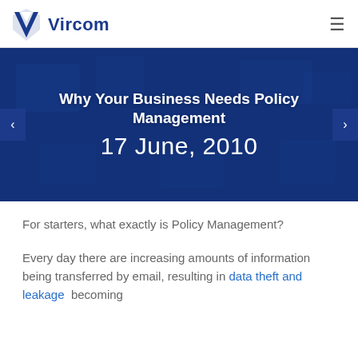Vircom
[Figure (other): Hero banner with dark blue background showing faded office/technology imagery, title 'Why Your Business Needs Policy Management', date '17 June, 2010', and left/right navigation arrows]
Why Your Business Needs Policy Management
17 June, 2010
For starters, what exactly is Policy Management?
Every day there are increasing amounts of information being transferred by email, resulting in data theft and leakage becoming